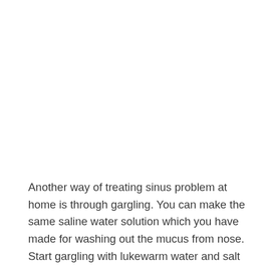Another way of treating sinus problem at home is through gargling. You can make the same saline water solution which you have made for washing out the mucus from nose. Start gargling with lukewarm water and salt for a period of 10 minutes. If you have been facing this problem due to the effect of common cold, the same will be eradicated with the same activity. Along with your nose, your throat will also get